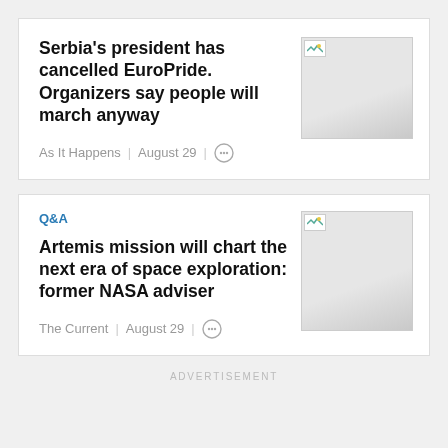Serbia's president has cancelled EuroPride. Organizers say people will march anyway
As It Happens | August 29 |
Q&A
Artemis mission will chart the next era of space exploration: former NASA adviser
The Current | August 29 |
ADVERTISEMENT